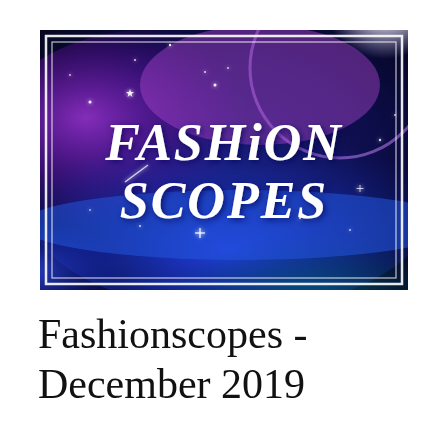[Figure (illustration): A dark galaxy/nebula background with blue and purple clouds, a large white moon in the upper right corner, sparkle/star effects, and the text 'FASHiON SCOPES' in large white decorative lettering centered in the image. The image is bordered by a white double-rectangle frame.]
Fashionscopes - December 2019